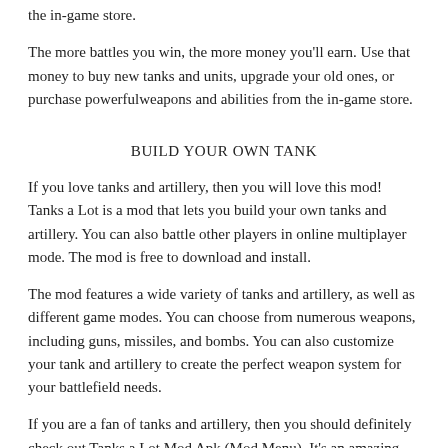the in-game store.
The more battles you win, the more money you'll earn. Use that money to buy new tanks and units, upgrade your old ones, or purchase powerfulweapons and abilities from the in-game store.
BUILD YOUR OWN TANK
If you love tanks and artillery, then you will love this mod! Tanks a Lot is a mod that lets you build your own tanks and artillery. You can also battle other players in online multiplayer mode. The mod is free to download and install.
The mod features a wide variety of tanks and artillery, as well as different game modes. You can choose from numerous weapons, including guns, missiles, and bombs. You can also customize your tank and artillery to create the perfect weapon system for your battlefield needs.
If you are a fan of tanks and artillery, then you should definitely check out Tanks a Lot Mod Apk (Mod Menu). It's an amazing mod that lets you build your own tanks and artillery, as well as battle other players in online multiplayer mode.